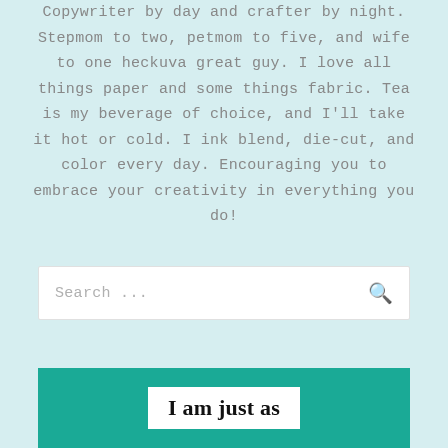Copywriter by day and crafter by night. Stepmom to two, petmom to five, and wife to one heckuva great guy. I love all things paper and some things fabric. Tea is my beverage of choice, and I'll take it hot or cold. I ink blend, die-cut, and color every day. Encouraging you to embrace your creativity in everything you do!
Search ...
I am just as